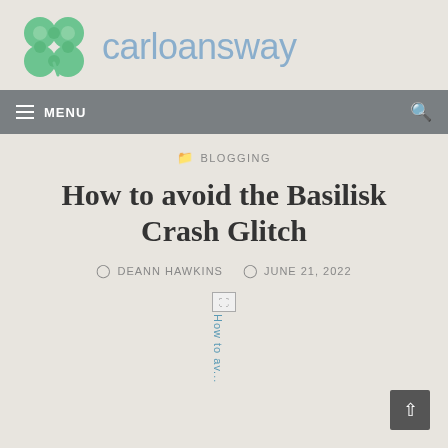carloansway
MENU
BLOGGING
How to avoid the Basilisk Crash Glitch
DEANN HAWKINS   JUNE 21, 2022
[Figure (photo): Broken image placeholder showing vertically oriented alt text reading 'How to av...' for an article image]